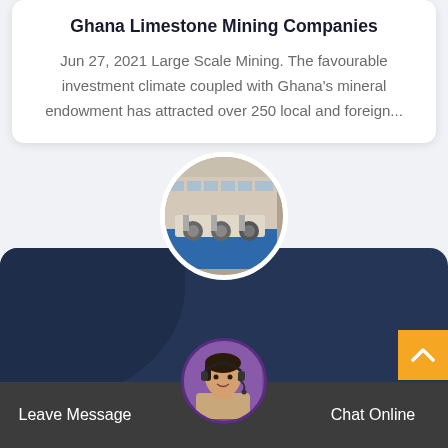Ghana Limestone Mining Companies
Jun 27, 2021 Large Scale Mining. The favourable investment climate coupled with Ghana's mineral endowment has attracted over 250 local and foreign...
[Figure (photo): Circular thumbnail image of industrial mining equipment (roller/crusher machines) in front of a building, with white circular border]
[Figure (photo): Circular avatar of a female customer service agent wearing a headset, with purple/dark background border]
Leave Message
Chat Online